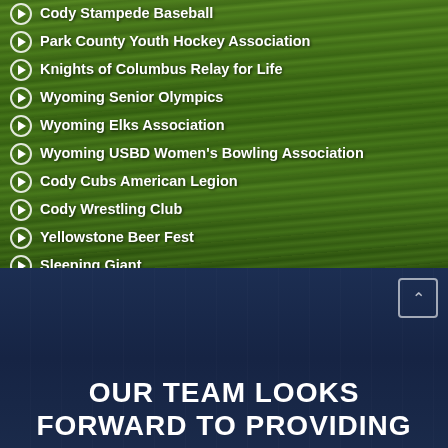Cody Stampede Baseball
Park County Youth Hockey Association
Knights of Columbus Relay for Life
Wyoming Senior Olympics
Wyoming Elks Association
Wyoming USBD Women's Bowling Association
Cody Cubs American Legion
Cody Wrestling Club
Yellowstone Beer Fest
Sleeping Giant
OUR TEAM LOOKS FORWARD TO PROVIDING